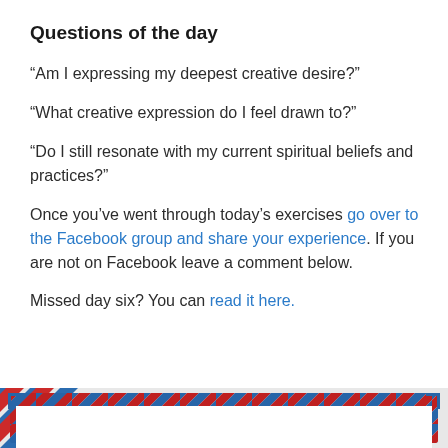Questions of the day
“Am I expressing my deepest creative desire?”
“What creative expression do I feel drawn to?”
“Do I still resonate with my current spiritual beliefs and practices?”
Once you’ve went through today’s exercises go over to the Facebook group and share your experience. If you are not on Facebook leave a comment below.
Missed day six? You can read it here.
[Figure (illustration): Decorative envelope bottom border with diagonal blue and red stripes on a light gray background with blue corner brackets.]